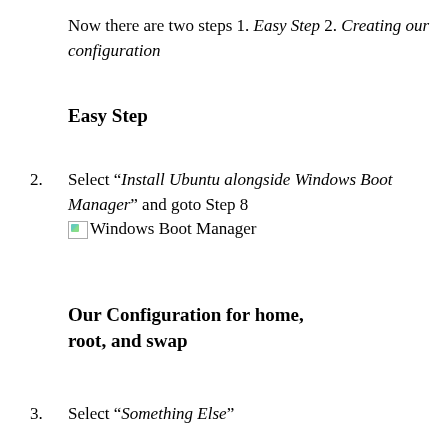Now there are two steps 1. Easy Step 2. Creating our configuration
Easy Step
2. Select “Install Ubuntu alongside Windows Boot Manager” and goto Step 8 [Windows Boot Manager image]
Our Configuration for home, root, and swap
3. Select “Something Else”